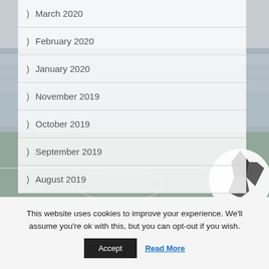> March 2020
> February 2020
> January 2020
> November 2019
> October 2019
> September 2019
> August 2019
This website uses cookies to improve your experience. We'll assume you're ok with this, but you can opt-out if you wish.
Accept  Read More